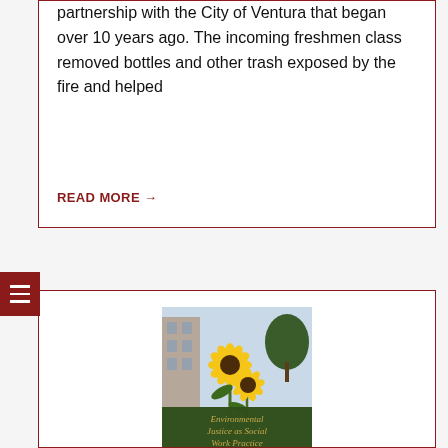partnership with the City of Ventura that began over 10 years ago. The incoming freshmen class removed bottles and other trash exposed by the fire and helped
READ MORE →
[Figure (photo): Book cover showing sunflowers in front of a building titled 'Environmental Justice as Social Work Practice']